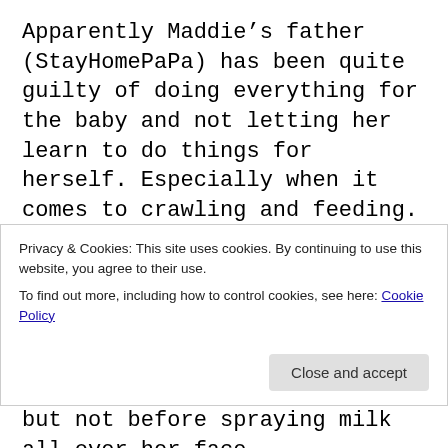Apparently Maddie's father (StayHomePaPa) has been quite guilty of doing everything for the baby and not letting her learn to do things for herself. Especially when it comes to crawling and feeding. This may be true to some degree, but I'm working hard to turn some of these trends around.
My newest project is to get Maddie to hold her own bottle while she's drinking milk. So far this has been an exercise in futility. Maddie acts like Smeagol aka Gollum from
Privacy & Cookies: This site uses cookies. By continuing to use this website, you agree to their use. To find out more, including how to control cookies, see here: Cookie Policy
but not before spraying milk all over her face